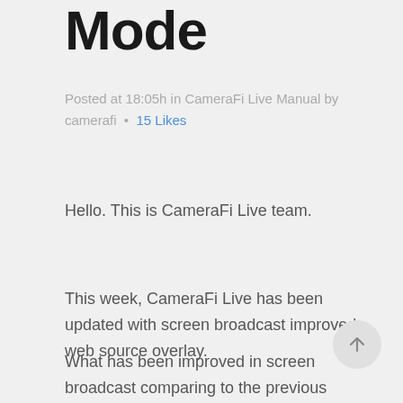Mode
Posted at 18:05h in CameraFi Live Manual by camerafi  •  15 Likes
Hello. This is CameraFi Live team.
This week, CameraFi Live has been updated with screen broadcast improved web source overlay.
What has been improved in screen broadcast comparing to the previous version?